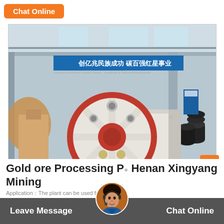Chat Online
[Figure (photo): Industrial jaw crusher machine in white and red, displayed in a large factory/warehouse setting. Chinese text visible on a banner in the background. The machine has a large red flywheel and white body, sitting on a metal frame.]
Gold ore Processing Plant Henan Xingyang Mining
Application：The plant can be used for gold ore,
Leave Message
Chat Online